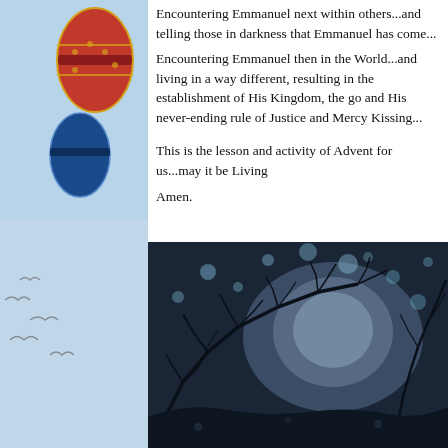Encountering Emmanuel next within others...and telling those in darkness that Emmanuel has come...
Encountering Emmanuel then in the World...and living in a way different, resulting in the establishment of His Kingdom, the go and His never-ending rule of Justice and Mercy Kissing...

This is the lesson and activity of Advent for us...may it be Living
Amen.
[Figure (photo): Dark atmospheric night photo showing bare tree branches silhouetted against a moonlit sky with bokeh light effects, blues and greys]
[Figure (photo): Left side partial image showing red and blue decorative elements against a light blue sky background, partially cropped]